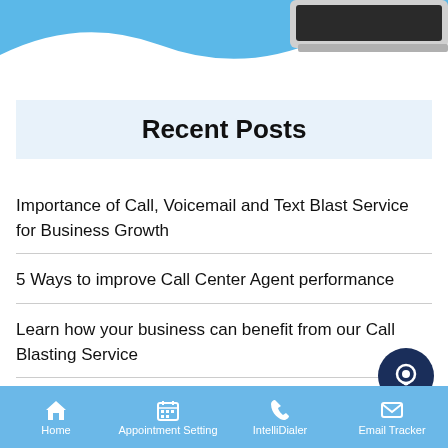[Figure (illustration): Top decorative banner with blue wave and partial laptop image]
Recent Posts
Importance of Call, Voicemail and Text Blast Service for Business Growth
5 Ways to improve Call Center Agent performance
Learn how your business can benefit from our Call Blasting Service
The Ultimate Guide to choose the right Appointr...
Home | Appointment Setting | IntelliDialer | Email Tracker